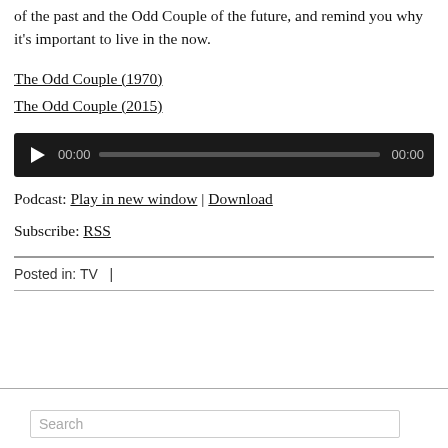of the past and the Odd Couple of the future, and remind you why it's important to live in the now.
The Odd Couple (1970)
The Odd Couple (2015)
[Figure (other): Audio player widget with play button, time display 00:00, progress bar, and end time 00:00]
Podcast: Play in new window | Download
Subscribe: RSS
Posted in: TV   |